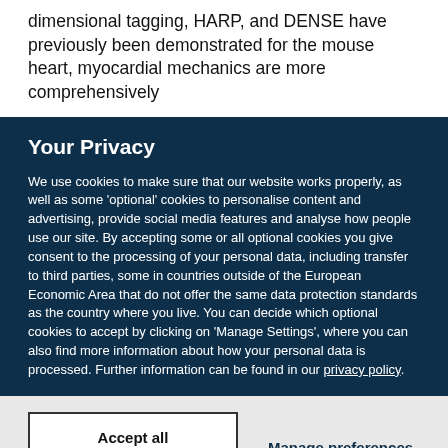dimensional tagging, HARP, and DENSE have previously been demonstrated for the mouse heart, myocardial mechanics are more comprehensively
Your Privacy
We use cookies to make sure that our website works properly, as well as some 'optional' cookies to personalise content and advertising, provide social media features and analyse how people use our site. By accepting some or all optional cookies you give consent to the processing of your personal data, including transfer to third parties, some in countries outside of the European Economic Area that do not offer the same data protection standards as the country where you live. You can decide which optional cookies to accept by clicking on 'Manage Settings', where you can also find more information about how your personal data is processed. Further information can be found in our privacy policy.
Accept all cookies
Manage preferences